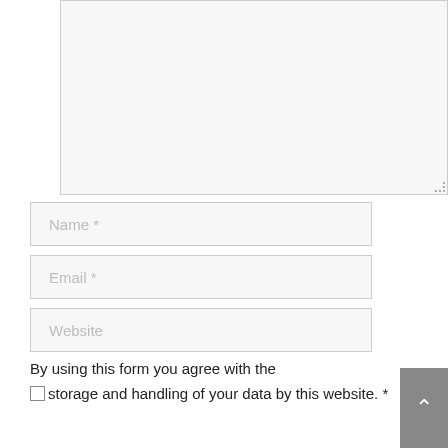[Figure (screenshot): A large textarea input box with a light gray background and border, with a resize handle at the bottom-right corner.]
Name *
Email *
Website
By using this form you agree with the storage and handling of your data by this website. *